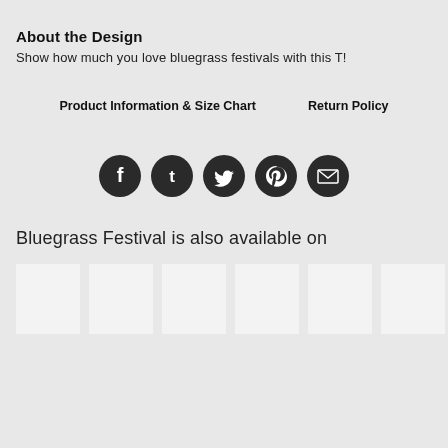About the Design
Show how much you love bluegrass festivals with this T!
Product Information & Size Chart   Return Policy
[Figure (infographic): Five social media sharing icons (Facebook, Tumblr, Twitter, Pinterest, Email) as dark circular buttons]
Bluegrass Festival is also available on
[Figure (photo): Six white/light gray product thumbnail placeholder boxes in a horizontal row]